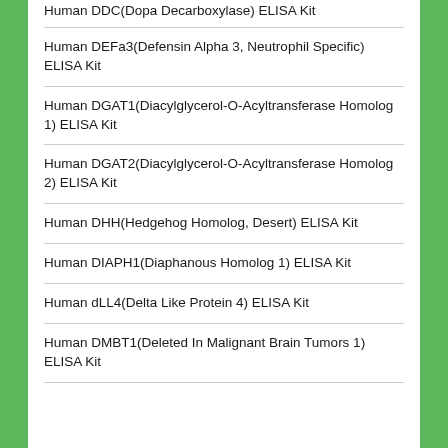Human DDC(Dopa Decarboxylase) ELISA Kit
Human DEFa3(Defensin Alpha 3, Neutrophil Specific) ELISA Kit
Human DGAT1(Diacylglycerol-O-Acyltransferase Homolog 1) ELISA Kit
Human DGAT2(Diacylglycerol-O-Acyltransferase Homolog 2) ELISA Kit
Human DHH(Hedgehog Homolog, Desert) ELISA Kit
Human DIAPH1(Diaphanous Homolog 1) ELISA Kit
Human dLL4(Delta Like Protein 4) ELISA Kit
Human DMBT1(Deleted In Malignant Brain Tumors 1) ELISA Kit